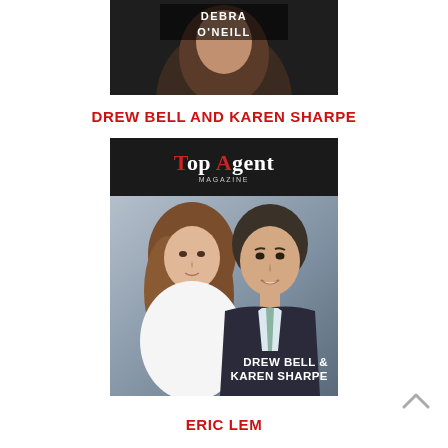[Figure (photo): Partial photo of Debra O'Neill, woman with dark hair, name text visible at top in white on dark background]
DREW BELL AND KAREN SHARPE
[Figure (photo): Top Agent Magazine cover featuring Drew Bell and Karen Sharpe. Two real estate professionals, a woman with long brown hair and a man in a suit with a tie. Magazine logo at top, names overlaid at bottom right.]
ERIC LEM